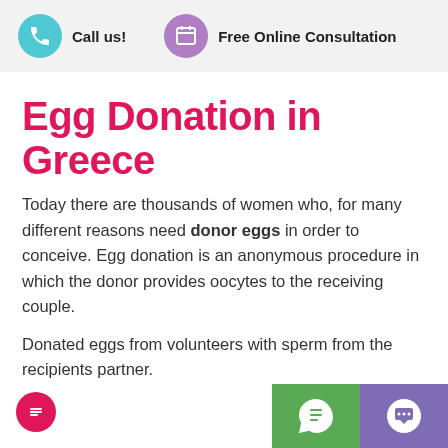Call us!   Free Online Consultation
Egg Donation in Greece
Today there are thousands of women who, for many different reasons need donor eggs in order to conceive. Egg donation is an anonymous procedure in which the donor provides oocytes to the receiving couple.
Donated eggs from volunteers with sperm from the recipients partner.